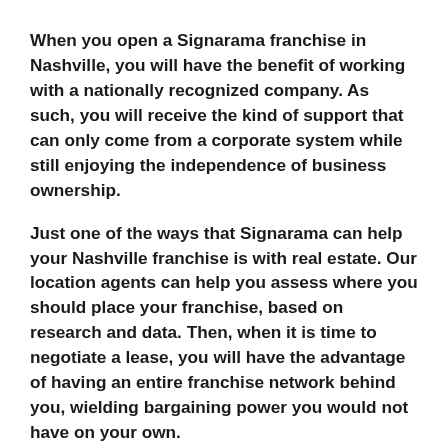When you open a Signarama franchise in Nashville, you will have the benefit of working with a nationally recognized company. As such, you will receive the kind of support that can only come from a corporate system while still enjoying the independence of business ownership.
Just one of the ways that Signarama can help your Nashville franchise is with real estate. Our location agents can help you assess where you should place your franchise, based on research and data. Then, when it is time to negotiate a lease, you will have the advantage of having an entire franchise network behind you, wielding bargaining power you would not have on your own.
Additionally, Signarama has a vast network of people who can help you if you ever have an idea, question, or concern. You will have access to corporate agents as well as other franchise owners. Our network's combined